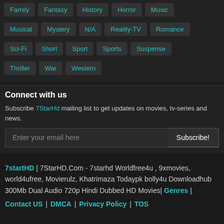Family, Fantasy, History, Horror, Music
Musical, Mystery, N/A, Reality-TV, Romance
Sci-Fi, Short, Sport, Sports, Suspense
Thriller, War, Western
Connect with us
Subscribe 7StarHd mailing list to get updates on movies, tv-series and news.
Enter your email here | Subscribe!
7startHD | 7StarHD.Com - 7starhd Worldfree4u , 9xmovies, world4ufree, Movierulz, Khatrimaza Todaypk bolly4u Downloadhub 300Mb Dual Audio 720p Hindi Dubbed HD Movies|
Genres | Contact US | DMCA | Privacy Policy | TOS